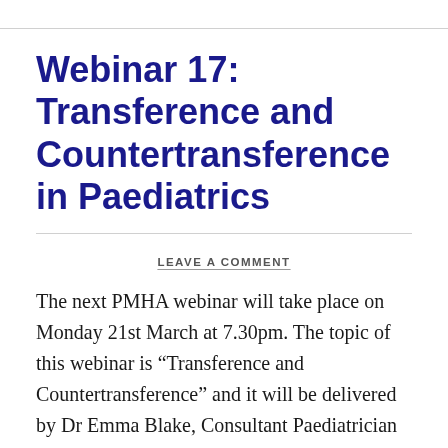Webinar 17: Transference and Countertransference in Paediatrics
LEAVE A COMMENT
The next PMHA webinar will take place on Monday 21st March at 7.30pm. The topic of this webinar is “Transference and Countertransference” and it will be delivered by Dr Emma Blake, Consultant Paediatrician in Child Mental Health and Convenor of the